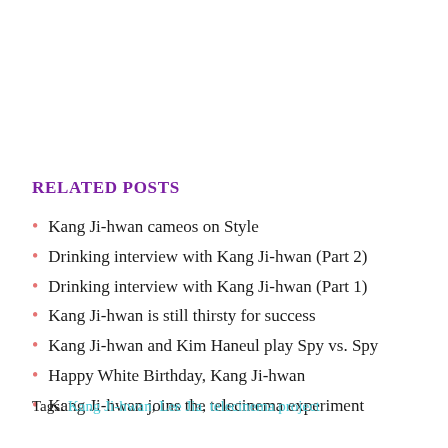RELATED POSTS
Kang Ji-hwan cameos on Style
Drinking interview with Kang Ji-hwan (Part 2)
Drinking interview with Kang Ji-hwan (Part 1)
Kang Ji-hwan is still thirsty for success
Kang Ji-hwan and Kim Haneul play Spy vs. Spy
Happy White Birthday, Kang Ji-hwan
Kang Ji-hwan joins the telecinema experiment
Tags: Kang Ji-hwan, Lee Jia, telecinema project